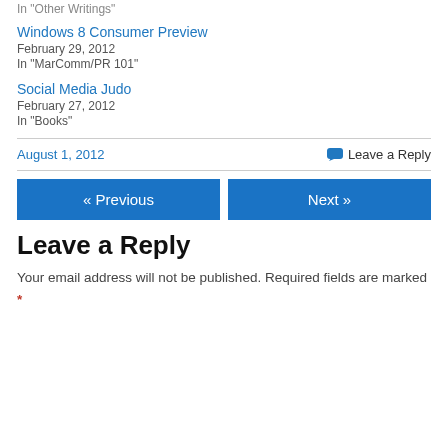In "Other Writings"
Windows 8 Consumer Preview
February 29, 2012
In "MarComm/PR 101"
Social Media Judo
February 27, 2012
In "Books"
August 1, 2012
Leave a Reply
« Previous
Next »
Leave a Reply
Your email address will not be published. Required fields are marked *